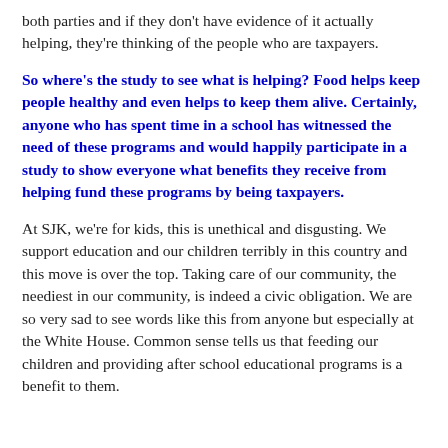both parties and if they don't have evidence of it actually helping, they're thinking of the people who are taxpayers.
So where's the study to see what is helping? Food helps keep people healthy and even helps to keep them alive. Certainly, anyone who has spent time in a school has witnessed the need of these programs and would happily participate in a study to show everyone what benefits they receive from helping fund these programs by being taxpayers.
At SJK, we're for kids, this is unethical and disgusting. We support education and our children terribly in this country and this move is over the top. Taking care of our community, the neediest in our community, is indeed a civic obligation. We are so very sad to see words like this from anyone but especially at the White House. Common sense tells us that feeding our children and providing after school educational programs is a benefit to them.